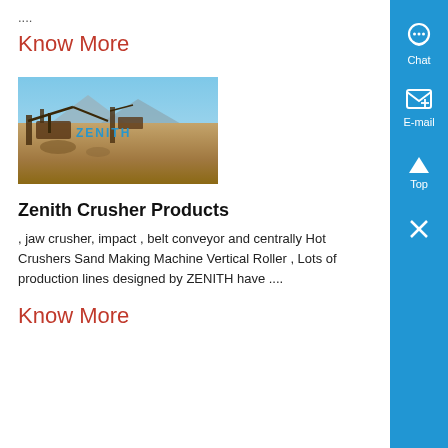....
Know More
[Figure (photo): Outdoor photo of Zenith crusher/mining equipment in a desert landscape with blue sky and mountains in background. Zenith logo text visible on equipment.]
Zenith Crusher Products
, jaw crusher, impact , belt conveyor and centrally Hot Crushers Sand Making Machine Vertical Roller , Lots of production lines designed by ZENITH have ....
Know More